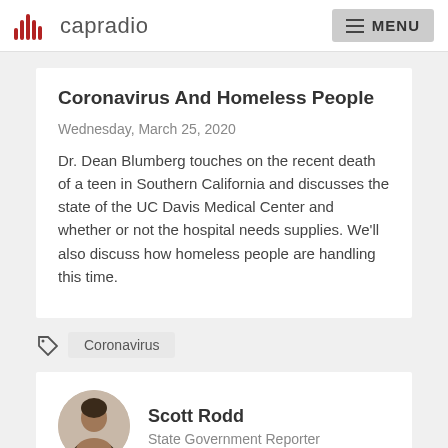capradio  MENU
Coronavirus And Homeless People
Wednesday, March 25, 2020
Dr. Dean Blumberg touches on the recent death of a teen in Southern California and discusses the state of the UC Davis Medical Center and whether or not the hospital needs supplies. We'll also discuss how homeless people are handling this time.
Coronavirus
Scott Rodd
State Government Reporter